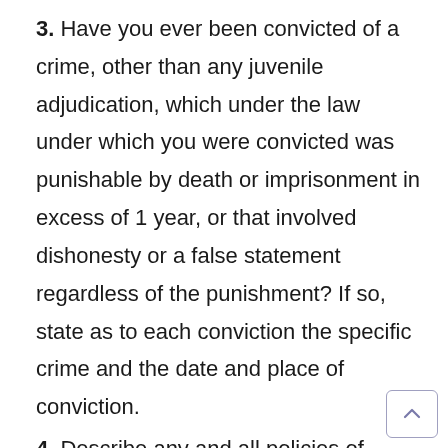3. Have you ever been convicted of a crime, other than any juvenile adjudication, which under the law under which you were convicted was punishable by death or imprisonment in excess of 1 year, or that involved dishonesty or a false statement regardless of the punishment? If so, state as to each conviction the specific crime and the date and place of conviction.
4. Describe any and all policies of insurance which you contend cover or may cover you for the allegations set forth in plaintiff’s complaint, detailing as to such policies the name of the insurer, the number of the policy, the effective dates of the policy, the available limits of liability, and the name